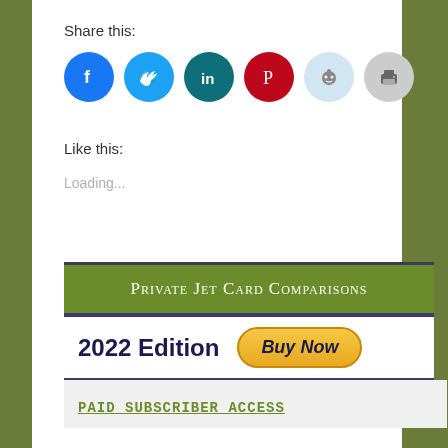Share this:
[Figure (illustration): Six social media sharing icons in circles: Facebook (blue), Twitter (light blue), LinkedIn (teal), Pinterest (red), Reddit (light blue), Print (gray)]
Like this:
Loading...
[Figure (illustration): Private Jet Card Comparisons banner with green header, 2022 Edition text and Buy Now button, framed by dark navy horizontal rules]
PAID SUBSCRIBER ACCESS